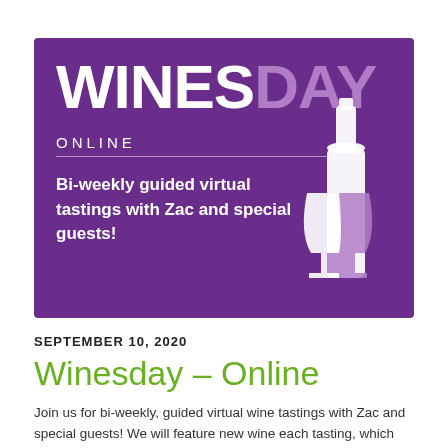[Figure (logo): Purple banner with WINESDAY ONLINE logo, featuring a wine bottle and wine glass silhouette. Text reads 'Bi-weekly guided virtual tastings with Zac and special guests!']
SEPTEMBER 10, 2020
Winesday – Online
Join us for bi-weekly, guided virtual wine tastings with Zac and special guests! We will feature new wine each tasting, which will be available at the Co-op for purchase. Upcoming tastings: